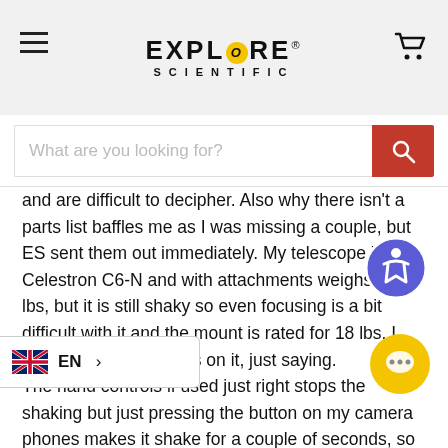Explore Scientific
What are you looking for?
and are difficult to decipher. Also why there isn't a parts list baffles me as I was missing a couple, but ES sent them out immediately. My telescope is a Celestron C6-N and with attachments weighs 12 lbs, but it is still shaky so even focusing is a bit difficult with it and the mount is rated for 18 lbs. I wouldn't put 18 pounds on it, just saying.
The hand controls if used just right stops the shaking but just pressing the button on my camera phones makes it shake for a couple of seconds, so expect to invest in a remote activator for taking pictures.
r a little shakiness and once you get it adjusted right by finding videos on YT it is pretty good